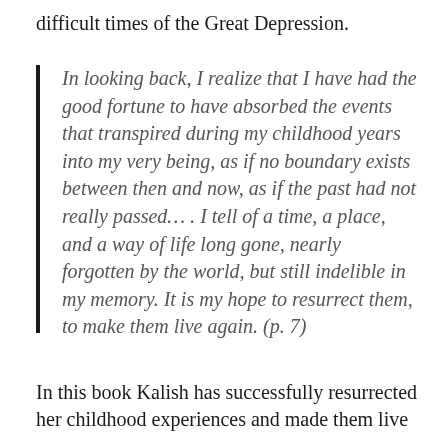difficult times of the Great Depression.
In looking back, I realize that I have had the good fortune to have absorbed the events that transpired during my childhood years into my very being, as if no boundary exists between then and now, as if the past had not really passed… . I tell of a time, a place, and a way of life long gone, nearly forgotten by the world, but still indelible in my memory. It is my hope to resurrect them, to make them live again. (p. 7)
In this book Kalish has successfully resurrected her childhood experiences and made them live